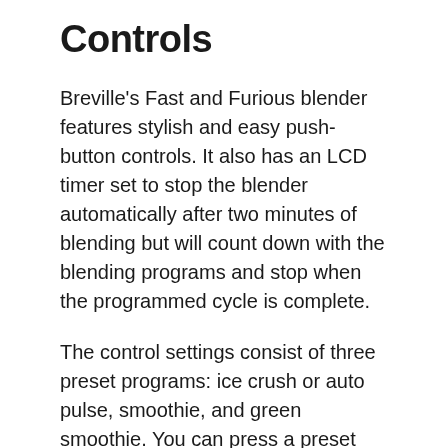Controls
Breville's Fast and Furious blender features stylish and easy push-button controls. It also has an LCD timer set to stop the blender automatically after two minutes of blending but will count down with the blending programs and stop when the programmed cycle is complete.
The control settings consist of three preset programs: ice crush or auto pulse, smoothie, and green smoothie. You can press a preset button and walk away; when your food is ready, the blender will go off.
There are five other speed settings labeled mix, chop, blend, puree, and liquefy from 1-5,